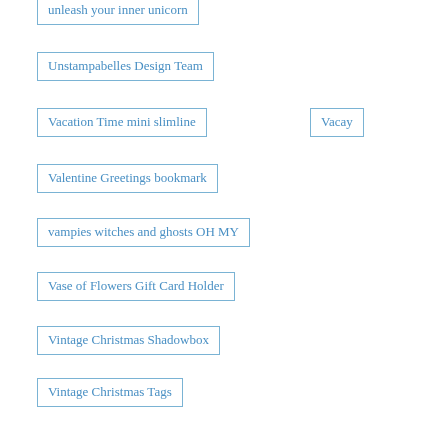unleash your inner unicorn
Unstampabelles Design Team
Vacation Time mini slimline
Vacay
Valentine Greetings bookmark
vampies witches and ghosts OH MY
Vase of Flowers Gift Card Holder
Vintage Christmas Shadowbox
Vintage Christmas Tags
Vintage Floral Embellishments & ATCs
vintage is totally cool
Vintage Looks Classic Style